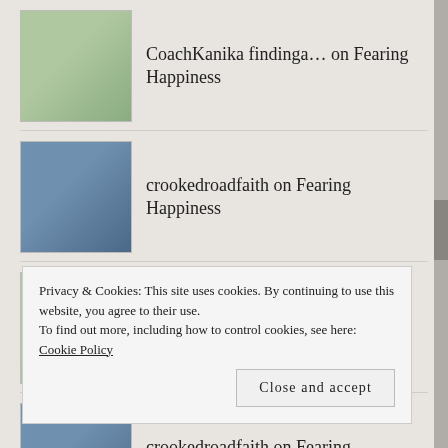CoachKanika findinga… on Fearing Happiness
crookedroadfaith on Fearing Happiness
CoachKanika findinga… on Fearing Happiness
crookedroadfaith on Fearing Happiness
Author_Joanne_Reed on Fearing Happiness
Privacy & Cookies: This site uses cookies. By continuing to use this website, you agree to their use.
To find out more, including how to control cookies, see here: Cookie Policy
Close and accept